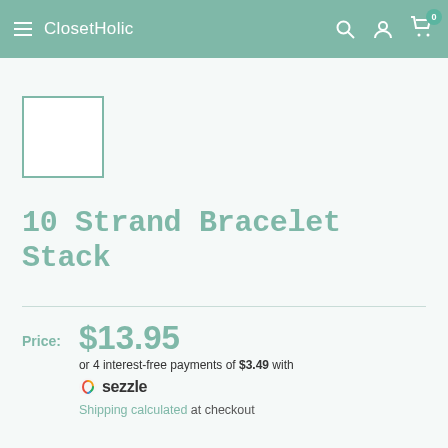ClosetHolic
[Figure (photo): Small square product thumbnail placeholder with teal border]
10 Strand Bracelet Stack
Price: $13.95 or 4 interest-free payments of $3.49 with Sezzle. Shipping calculated at checkout.